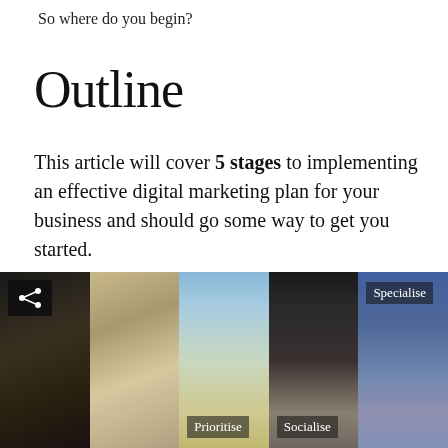So where do you begin?
Outline
This article will cover 5 stages to implementing an effective digital marketing plan for your business and should go some way to get you started.
[Figure (photo): A horizontal strip of five photos: chess pieces on dark background with share icon, chess pieces on light background, olive plant against sky with 'Prioritise' label, social gathering scene with 'Socialise' label, person in medical mask with 'Specialise' label]